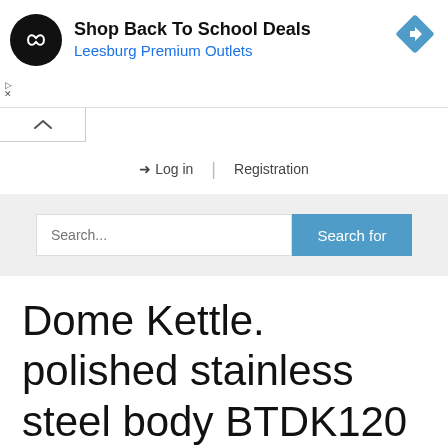[Figure (screenshot): Ad banner with circular black logo containing infinity-like symbol, headline 'Shop Back To School Deals', subheadline 'Leesburg Premium Outlets' in blue, and a blue diamond navigation icon on the right]
[Figure (screenshot): Website UI: collapse tab (caret up), navigation links 'Log in' and 'Registration', and a search bar with 'Search...' placeholder and 'Search for' blue button]
Dome Kettle. polished stainless steel body BTDK120